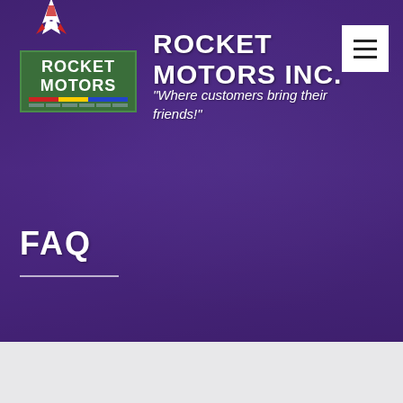[Figure (screenshot): Hero banner with purple-tinted background showing a mechanic working on a car engine with red cables. Rocket Motors Inc. logo in the top-left corner with a green box, rocket graphic, and colored stripe. Hamburger menu icon in top-right white box.]
ROCKET MOTORS INC.
"Where customers bring their friends!"
FAQ
[Figure (logo): Rocket Motors logo: green rectangular box with ROCKET MOTORS text, a red/white rocket above, and colored diagonal stripe below.]